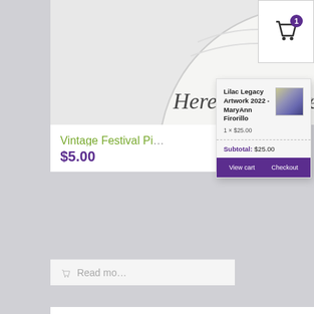[Figure (illustration): Top portion of a circular festival pin design with text 'Here's to the Heroes' on white/grey background]
[Figure (screenshot): Shopping cart popup overlay showing: 'Lilac Legacy Artwork 2022 - MaryAnn Firorillo', '1 x $25.00', thumbnail image of artwork, Subtotal: $25.00, View cart and Checkout buttons on purple background]
Vintage Festival Pi
$5.00
Read mo
[Figure (illustration): Circular 'We are Spokane' badge/pin with clock tower, airplane, telescope, American flag, on dark purple background with blue border]